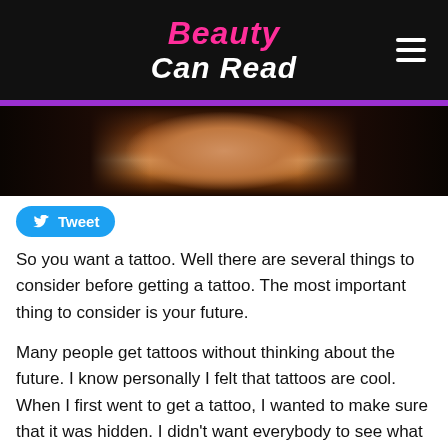Beauty Can Read
[Figure (photo): Close-up photo of person's neck and chest area with tattoos, wearing a gold chain, with dark braided hair on both sides]
Tweet
So you want a tattoo. Well there are several things to consider before getting a tattoo. The most important thing to consider is your future.
Many people get tattoos without thinking about the future. I know personally I felt that tattoos are cool. When I first went to get a tattoo, I wanted to make sure that it was hidden. I didn't want everybody to see what